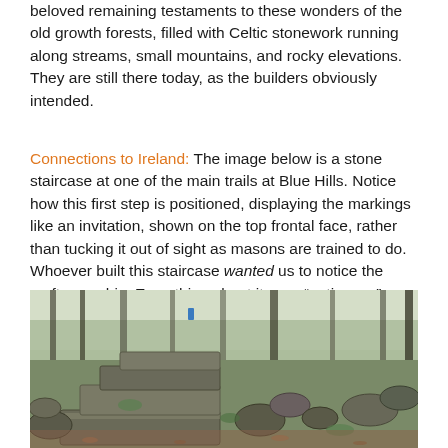beloved remaining testaments to these wonders of the old growth forests, filled with Celtic stonework running along streams, small mountains, and rocky elevations. They are still there today, as the builders obviously intended.
Connections to Ireland: The image below is a stone staircase at one of the main trails at Blue Hills. Notice how this first step is positioned, displaying the markings like an invitation, shown on the top frontal face, rather than tucking it out of sight as masons are trained to do. Whoever built this staircase wanted us to notice the craftsmanship. Everything about it says “notice me”.
[Figure (photo): A stone staircase along a wooded trail at Blue Hills, showing large flat stones arranged as steps among rocks, mossy stones, and bare trees in a forest setting.]